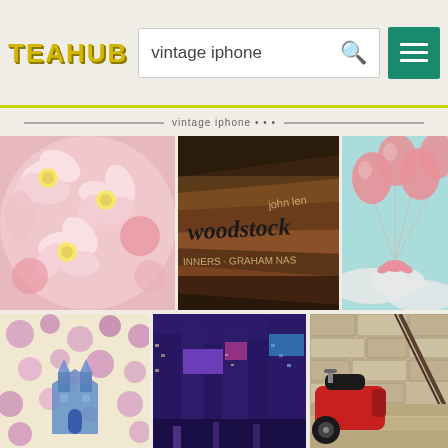TEAHUB — search results for 'vintage iphone'
[Figure (photo): Pink and white cherry blossoms and flowers close-up]
[Figure (photo): Stacked vinyl records with 'woodstock' label visible, vintage brown tones]
[Figure (photo): Pink balloons tied with ribbon floating in a pastel blue sky with clouds, vintage illustration style]
[Figure (photo): Floral purple and pink pattern overlaid with Cinderella castle illustration]
[Figure (photo): Times Square New York City at night with purple tint]
[Figure (photo): Red vintage scooter parked beside stone staircase with iron railing]